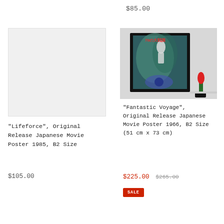$85.00
[Figure (photo): Light grey placeholder rectangle representing a product image for a movie poster]
"Lifeforce", Original Release Japanese Movie Poster 1985, B2 Size
$105.00
[Figure (photo): Photo of a framed Japanese movie poster for 'Fantastic Voyage' 1966, hung on a white wall with a small potted red tulip nearby]
"Fantastic Voyage", Original Release Japanese Movie Poster 1966, B2 Size (51 cm x 73 cm)
$225.00 $265.00
SALE